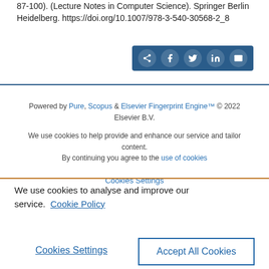87-100). (Lecture Notes in Computer Science). Springer Berlin Heidelberg. https://doi.org/10.1007/978-3-540-30568-2_8
[Figure (other): Social share buttons bar with icons for share, Facebook, Twitter, LinkedIn, and email on a dark blue background]
Powered by Pure, Scopus & Elsevier Fingerprint Engine™ © 2022 Elsevier B.V.

We use cookies to help provide and enhance our service and tailor content. By continuing you agree to the use of cookies

Cookies Settings
We use cookies to analyse and improve our service. Cookie Policy
Cookies Settings
Accept All Cookies